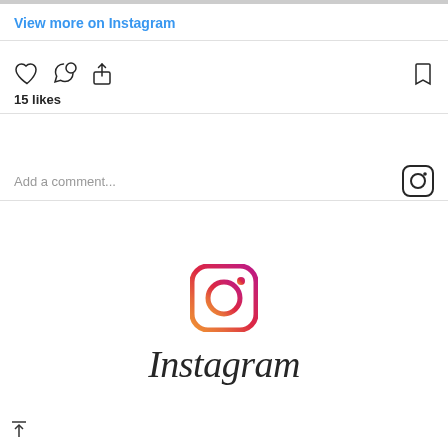View more on Instagram
[Figure (infographic): Instagram action icons: heart (like), speech bubble (comment), share (upload arrow), and bookmark icon on the right]
15 likes
Add a comment...
[Figure (logo): Instagram logo icon with gradient (orange to purple) and wordmark 'Instagram' in script font below]